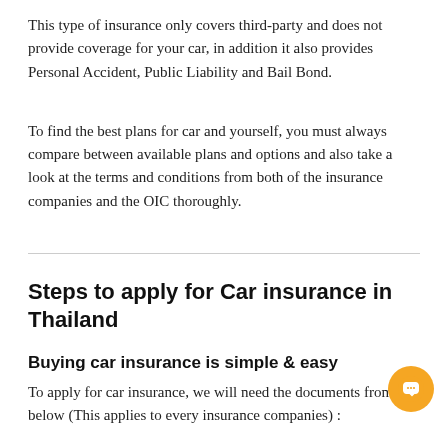This type of insurance only covers third-party and does not provide coverage for your car, in addition it also provides Personal Accident, Public Liability and Bail Bond.
To find the best plans for car and yourself, you must always compare between available plans and options and also take a look at the terms and conditions from both of the insurance companies and the OIC thoroughly.
Steps to apply for Car insurance in Thailand
Buying car insurance is simple & easy
To apply for car insurance, we will need the documents from below (This applies to every insurance companies) :
Apply through our website or contact a customer service representative.